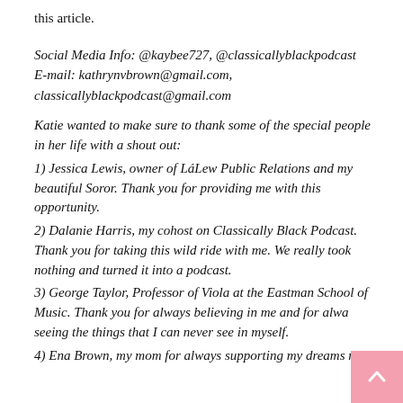this article.
Social Media Info: @kaybee727, @classicallyblackpodcast
E-mail: kathrynvbrown@gmail.com,
classicallyblackpodcast@gmail.com
Katie wanted to make sure to thank some of the special people in her life with a shout out:
1) Jessica Lewis, owner of LáLew Public Relations and my beautiful Soror. Thank you for providing me with this opportunity.
2) Dalanie Harris, my cohost on Classically Black Podcast. Thank you for taking this wild ride with me. We really took nothing and turned it into a podcast.
3) George Taylor, Professor of Viola at the Eastman School of Music. Thank you for always believing in me and for always seeing the things that I can never see in myself.
4) Ena Brown, my mom for always supporting my dreams no